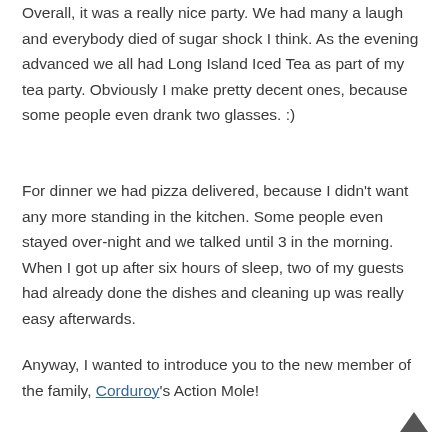Overall, it was a really nice party. We had many a laugh and everybody died of sugar shock I think. As the evening advanced we all had Long Island Iced Tea as part of my tea party. Obviously I make pretty decent ones, because some people even drank two glasses. :)
For dinner we had pizza delivered, because I didn't want any more standing in the kitchen. Some people even stayed over-night and we talked until 3 in the morning. When I got up after six hours of sleep, two of my guests had already done the dishes and cleaning up was really easy afterwards.
Anyway, I wanted to introduce you to the new member of the family, Corduroy's Action Mole!